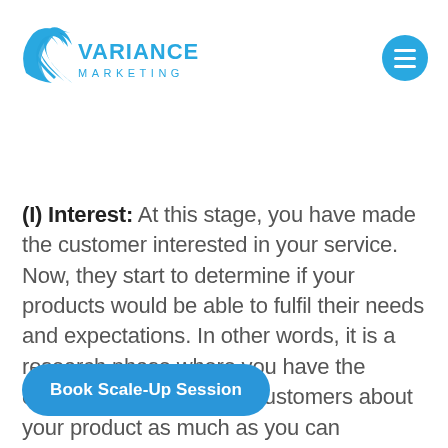[Figure (logo): Variance Marketing logo with blue wing/feather icon on the left and 'VARIANCE MARKETING' text in blue]
[Figure (other): Blue circular hamburger menu button with three white horizontal bars]
(I) Interest: At this stage, you have made the customer interested in your service. Now, they start to determine if your products would be able to fulfil their needs and expectations. In other words, it is a research phase where you have the opportunity to guide the customers about your product as much as you can and fulfil their demands. The only two ways you can take your prospects
Book Scale-Up Session